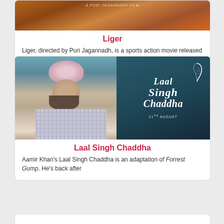[Figure (photo): Movie poster for Liger, a Puri Jagannadh film, with warm orange/brown tones]
Liger
Liger, directed by Puri Jagannadh, is a sports action movie released in Hindi and Telugu language
[Figure (photo): Movie poster for Laal Singh Chaddha showing Aamir Khan in a Sikh turban and beard in a plaid shirt, with the film's stylized script logo on a teal/dark background, dated 11th August]
Laal Singh Chaddha
Aamir Khan's Laal Singh Chaddha is an adaptation of Forrest Gump. He's back after